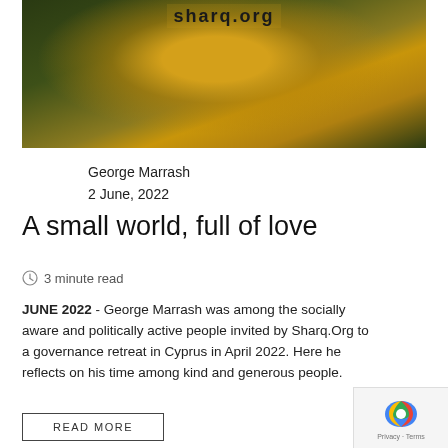[Figure (photo): Person wearing a black jacket open to reveal a yellow/gold t-shirt with 'sharq.org' text, outdoor blurred background]
George Marrash
2 June, 2022
A small world, full of love
🕐 3 minute read
JUNE 2022 - George Marrash was among the socially aware and politically active people invited by Sharq.Org to a governance retreat in Cyprus in April 2022. Here he reflects on his time among kind and generous people.
READ MORE